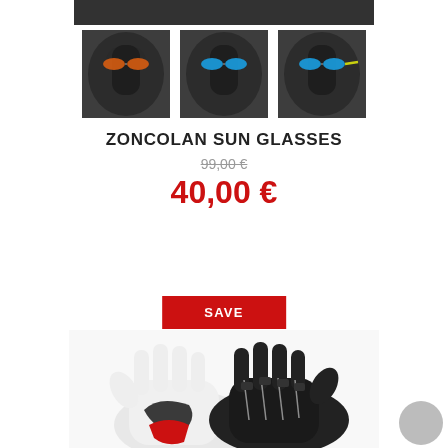[Figure (photo): Top banner image showing dark background, partial product shot]
[Figure (photo): Three thumbnail images of a mannequin head wearing sunglasses with colored lenses: orange/red, blue, and blue/yellow variants]
ZONCOLAN SUN GLASSES
99,00 € (strikethrough original price)
40,00 €
[Figure (other): Red SAVE button]
[Figure (photo): White and black motorcycle/sport gloves with red accents, shown as a pair]